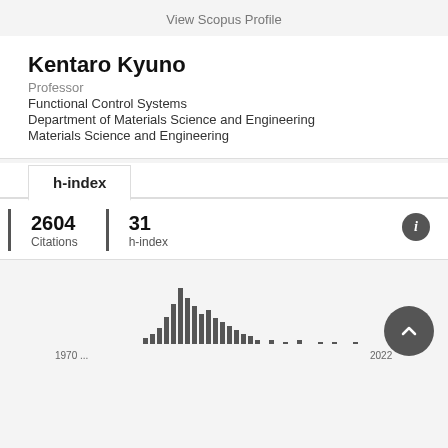View Scopus Profile
Kentaro Kyuno
Professor
Functional Control Systems
Department of Materials Science and Engineering
Materials Science and Engineering
h-index
2604
Citations
31
h-index
[Figure (histogram): Citations by year]